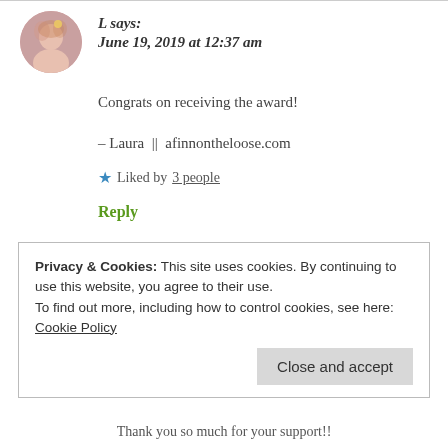L says: June 19, 2019 at 12:37 am
Congrats on receiving the award!
– Laura || afinnontheloose.com
★ Liked by 3 people
Reply
Privacy & Cookies: This site uses cookies. By continuing to use this website, you agree to their use.
To find out more, including how to control cookies, see here: Cookie Policy
Close and accept
Thank you so much for your support!!